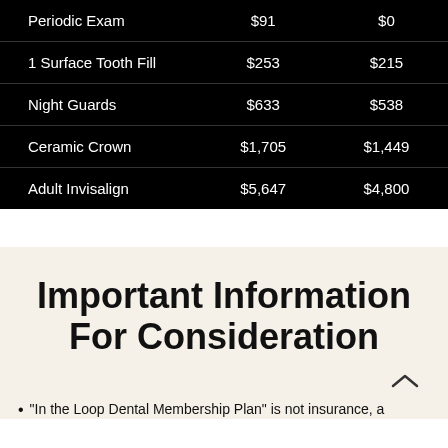| Periodic Exam | $91 | $0 |
| 1 Surface Tooth Fill | $253 | $215 |
| Night Guards | $633 | $538 |
| Ceramic Crown | $1,705 | $1,449 |
| Adult Invisalign | $5,647 | $4,800 |
Important Information For Consideration
"In the Loop Dental Membership Plan" is not insurance, a